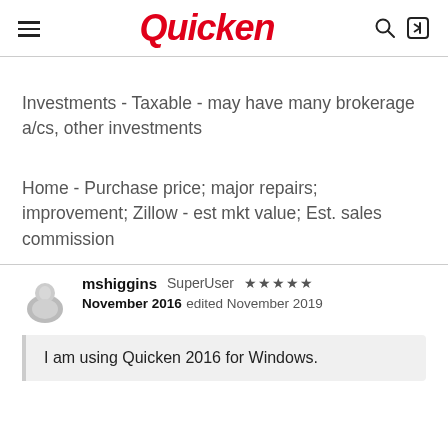Quicken
Investments - Taxable - may have many brokerage a/cs, other investments
Home - Purchase price; major repairs; improvement; Zillow - est mkt value; Est. sales commission
mshiggins SuperUser ★★★★★ November 2016 edited November 2019
I am using Quicken 2016 for Windows.